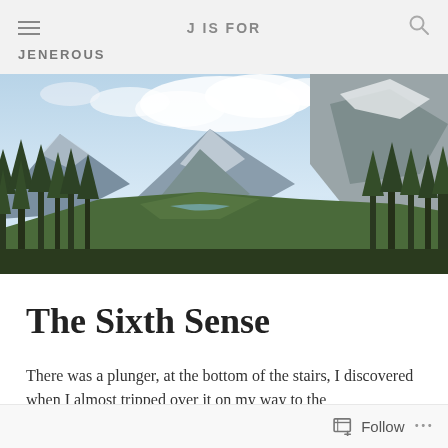J IS FOR JENEROUS
[Figure (photo): Panoramic mountain landscape with evergreen trees in the foreground, a broad valley with a river, rugged snow-capped mountains under a partly cloudy sky.]
The Sixth Sense
There was a plunger, at the bottom of the stairs, I discovered when I almost tripped over it on my way to the
Follow